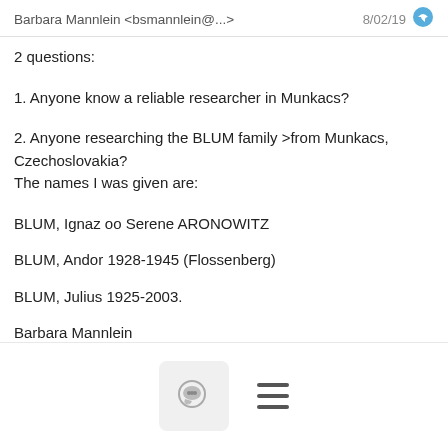Barbara Mannlein <bsmannlein@...>   8/02/19
2 questions:
1. Anyone know a reliable researcher in Munkacs?
2. Anyone researching the BLUM family >from Munkacs, Czechoslovakia?
The names I was given are:
BLUM, Ignaz oo Serene ARONOWITZ
BLUM, Andor 1928-1945 (Flossenberg)
BLUM, Julius 1925-2003.
Barbara Mannlein
MODERATOR NOTE: Please send researcher recommendations privately.
[Figure (screenshot): Bottom navigation bar with chat bubble icon button and hamburger menu icon]